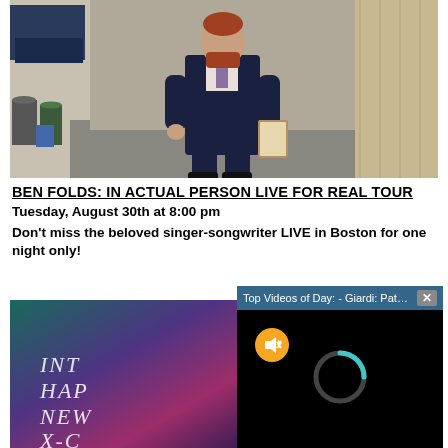[Figure (photo): Man in a dark navy suit walking down an alley, carrying a book or folder, with trash cans and parked trucks visible in the background.]
BEN FOLDS: IN ACTUAL PERSON LIVE FOR REAL TOUR
Tuesday, August 30th at 8:00 pm
Don't miss the beloved singer-songwriter LIVE in Boston for one night only!
[Figure (screenshot): Bottom-left: Partial advertisement with gradient teal/pink background showing partial text INT HAP NEW X-C. Bottom-right: Video player popup with dark header reading 'Top Videos of Day: - Giardi: Pats offens...' with a close X button, black background, muted button (orange circle with speaker icon), and teal loading ring spinner.]